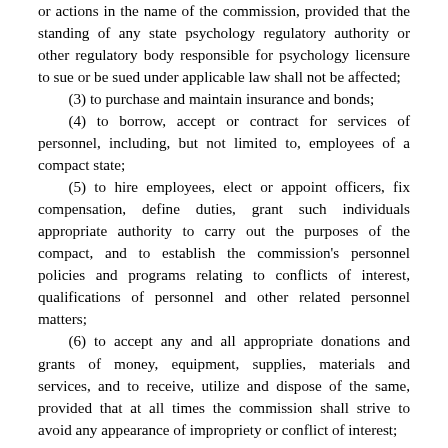or actions in the name of the commission, provided that the standing of any state psychology regulatory authority or other regulatory body responsible for psychology licensure to sue or be sued under applicable law shall not be affected;
(3) to purchase and maintain insurance and bonds;
(4) to borrow, accept or contract for services of personnel, including, but not limited to, employees of a compact state;
(5) to hire employees, elect or appoint officers, fix compensation, define duties, grant such individuals appropriate authority to carry out the purposes of the compact, and to establish the commission's personnel policies and programs relating to conflicts of interest, qualifications of personnel and other related personnel matters;
(6) to accept any and all appropriate donations and grants of money, equipment, supplies, materials and services, and to receive, utilize and dispose of the same, provided that at all times the commission shall strive to avoid any appearance of impropriety or conflict of interest;